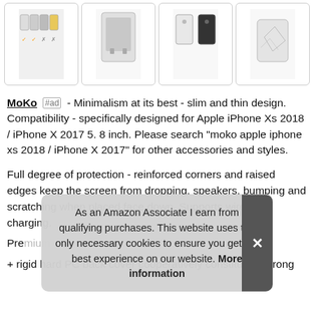[Figure (photo): Four product images of iPhone cases in a horizontal row with rounded borders]
MoKo #ad - Minimalism at its best - slim and thin design. Compatibility - specifically designed for Apple iPhone Xs 2018 / iPhone X 2017 5. 8 inch. Please search "moko apple iphone xs 2018 / iPhone X 2017" for other accessories and styles.
Full degree of protection - reinforced corners and raised edges keep the screen from dropping, speakers, bumping and scratching when placed face down. Supports wireless charging.
Prem
+ rigid hard PC back cover cooperatively constitute a strong
As an Amazon Associate I earn from qualifying purchases. This website uses the only necessary cookies to ensure you get the best experience on our website. More information